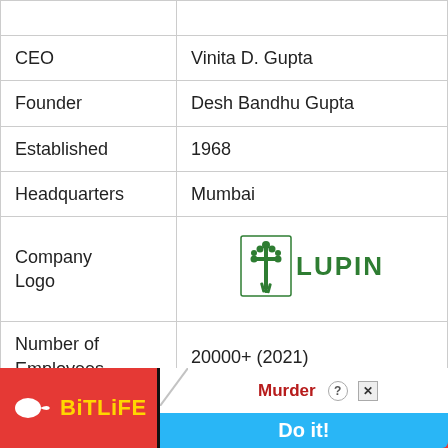| CEO | Vinita D. Gupta |
| Founder | Desh Bandhu Gupta |
| Established | 1968 |
| Headquarters | Mumbai |
| Company Logo | [Lupin Logo] |
| Number of Employees | 20000+ (2021) |
| Products | 1000+ |
[Figure (logo): Lupin pharmaceutical company logo - green cross/plant icon with LUPIN text in green]
[Figure (screenshot): BitLife mobile game advertisement banner with red background, yellow BitLife text, Murder/Do it prompt on blue button]